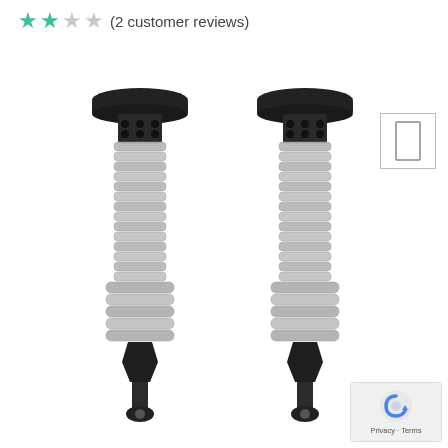★★☆☆ (2 customer reviews)
[Figure (photo): Two FOX coilover shock absorbers with silver coil springs and black upper and lower mounts, shown side by side on white background]
[Figure (photo): Small thumbnail preview box with icon in top right corner]
[Figure (logo): Google reCAPTCHA badge with Privacy and Terms text links]